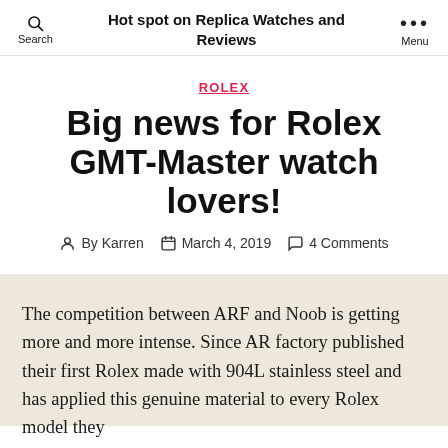Hot spot on Replica Watches and Reviews
ROLEX
Big news for Rolex GMT-Master watch lovers!
By Karren   March 4, 2019   4 Comments
The competition between ARF and Noob is getting more and more intense. Since AR factory published their first Rolex made with 904L stainless steel and has applied this genuine material to every Rolex model they